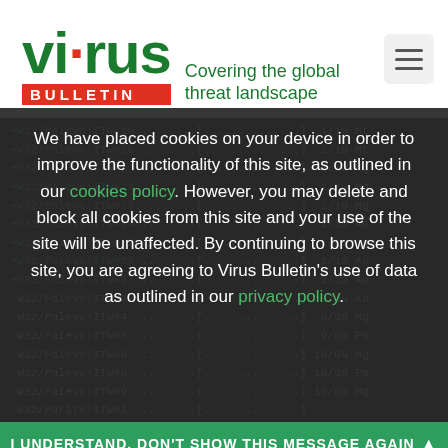[Figure (logo): Virus Bulletin logo with red dot on 'i', green bold text 'virus', red background 'BULLETIN' bar, and green tagline 'Covering the global threat landscape']
+W32/Palevo!ITW#19.........[..............] 1/10 Mt
+W32/Palevo!ITW#20.........[..............] 1/10 Mt
+W32/Palevo!ITW#21.........[..............] 1/10 Mg
+W32/Palevo!ITW#22.........[..............] 1/10 Mg
+W32/Palevo!ITW#23.........[..............] 1/10 Mg
+W32/Palevo!ITW#24.........[..............] 1/10 Ao
+W32/Palevo!ITW#25.........[..............] 1/10 Ng
+W32/Palevo!ITW#26.........[..............] 1/10 Ao
+W32/Palevo!ITW#27.........[..............] 1/10 Ao
W32/Palevo!ITW#3..........[..............] 8/09 Ao
W32/Palevo!ITW#4..........[..............] 8/09 Mg
W32/Palevo!ITW#5..........[..............] 9/09 Pa
W32/Palevo!ITW#6..........[..............] 10/09 Mg
W32/Palevo!ITW#8..........[..............] 10/09 Pa
W32/Palevo!ITW#9..........[..............] 10/09 Mg
W32/Parite!ITW#1..........[..............] 
W32/Perlovga!ITW#1........[..............] 
W32/Perlovga!ITW#2.......[..............] 6/09 Mg
We have placed cookies on your device in order to improve the functionality of this site, as outlined in our cookies policy. However, you may delete and block all cookies from this site and your use of the site will be unaffected. By continuing to browse this site, you are agreeing to Virus Bulletin's use of data as outlined in our privacy policy.
I UNDERSTAND. DON'T SHOW THIS MESSAGE AGAIN